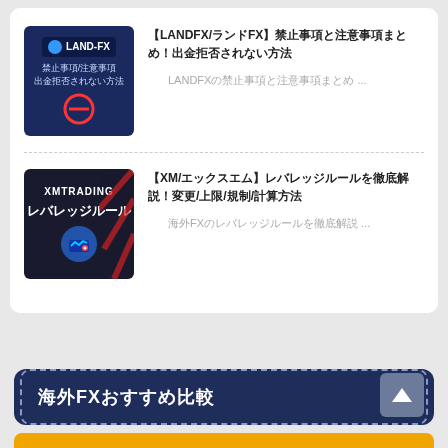[Figure (illustration): LAND-FX thumbnail: dark blue background with LAND-FX logo, text 禁止事項/注意事項 出金拒否されない方法, red prohibition circle]
【LANDFX/ランドFX】禁止事項と注意事項まとめ！出金拒否されない方法
LANDFXの禁止事項と注意事項まとめ ...
[Figure (illustration): XM Trading thumbnail: dark background with XMTRADING logo, レバレッジルール label, chart icon]
【XM/エックスエム】レバレッジルールを徹底解説！変更/上限/規制/計算方法
海外FXのレバレッジルールを徹底解説 ...
海外FXおすすめ比較